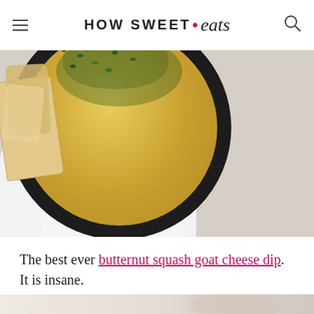HOW SWEET • eats
[Figure (photo): Overhead view of a butternut squash goat cheese dip in a black bowl, topped with chopped herbs, with pita bread pieces and a white cloth napkin on a light stone surface.]
The best ever butternut squash goat cheese dip. It is insane.
[Figure (photo): Partial view of a second food photo, appears to show a light-colored surface with a blurred subject.]